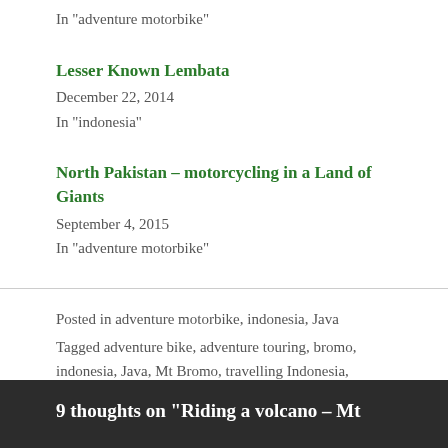In "adventure motorbike"
Lesser Known Lembata
December 22, 2014
In "indonesia"
North Pakistan – motorcycling in a Land of Giants
September 4, 2015
In "adventure motorbike"
Posted in adventure motorbike, indonesia, Java
Tagged adventure bike, adventure touring, bromo, indonesia, Java, Mt Bromo, travelling Indonesia, volcano, volcano vent
9 Comments
9 thoughts on “Riding a volcano – Mt